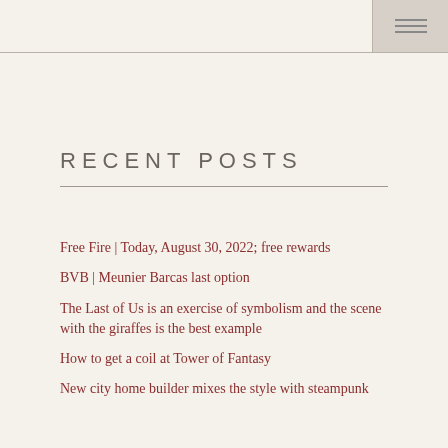RECENT POSTS
Free Fire | Today, August 30, 2022; free rewards
BVB | Meunier Barcas last option
The Last of Us is an exercise of symbolism and the scene with the giraffes is the best example
How to get a coil at Tower of Fantasy
New city home builder mixes the style with steampunk